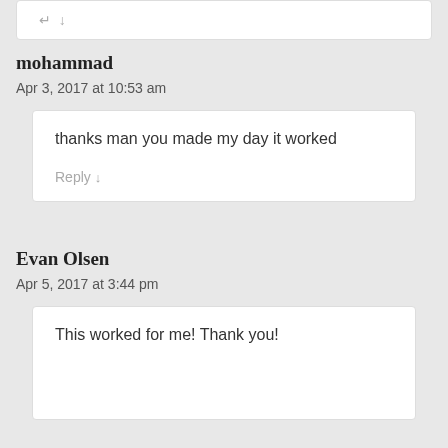↵ ↓
mohammad
Apr 3, 2017 at 10:53 am
thanks man you made my day it worked
Reply ↓
Evan Olsen
Apr 5, 2017 at 3:44 pm
This worked for me! Thank you!